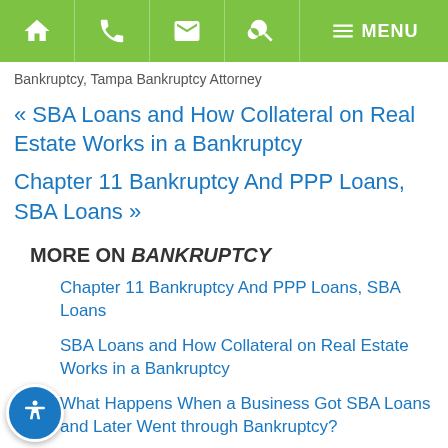Navigation bar with home, phone, email, search, and menu icons
Bankruptcy, Tampa Bankruptcy Attorney
« SBA Loans and How Collateral on Real Estate Works in a Bankruptcy
Chapter 11 Bankruptcy And PPP Loans, SBA Loans »
MORE ON BANKRUPTCY
Chapter 11 Bankruptcy And PPP Loans, SBA Loans
SBA Loans and How Collateral on Real Estate Works in a Bankruptcy
What Happens When a Business Got SBA Loans and Later Went through Bankruptcy?
Personal Guarantees on Commercial Leases